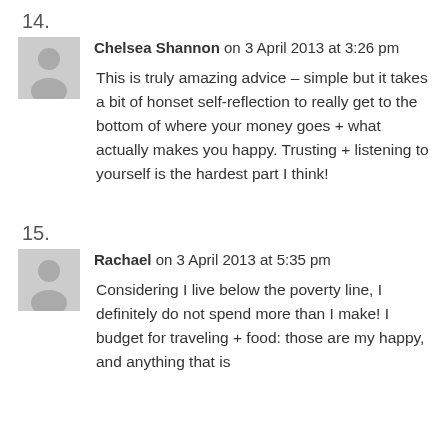14.
Chelsea Shannon on 3 April 2013 at 3:26 pm
This is truly amazing advice – simple but it takes a bit of honset self-reflection to really get to the bottom of where your money goes + what actually makes you happy. Trusting + listening to yourself is the hardest part I think!
15.
Rachael on 3 April 2013 at 5:35 pm
Considering I live below the poverty line, I definitely do not spend more than I make! I budget for traveling + food: those are my happy, and anything that is